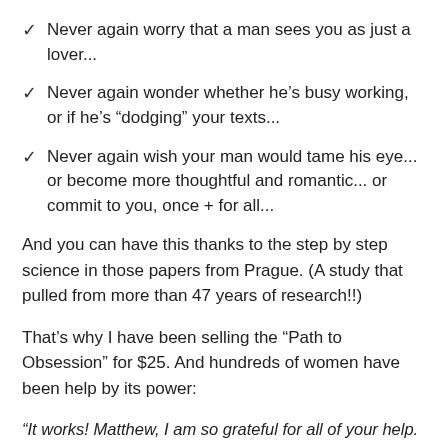Never again worry that a man sees you as just a lover...
Never again wonder whether he’s busy working, or if he’s “dodging” your texts...
Never again wish your man would tame his eye... or become more thoughtful and romantic... or commit to you, once + for all...
And you can have this thanks to the step by step science in those papers from Prague. (A study that pulled from more than 47 years of research!!)
That’s why I have been selling the “Path to Obsession” for $25. And hundreds of women have been help by its power:
“It works! Matthew, I am so grateful for all of your help. The past two and a half months have been almost more...